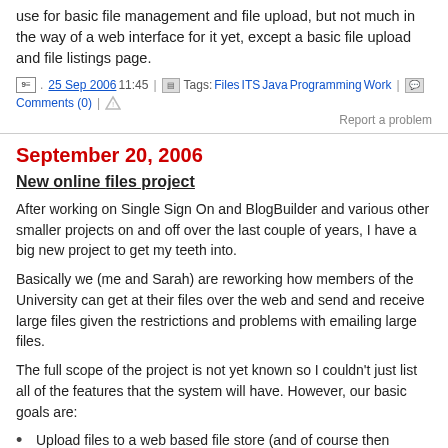use for basic file management and file upload, but not much in the way of a web interface for it yet, except a basic file upload and file listings page.
25 Sep 2006 11:45 | Tags: Files ITS Java Programming Work | Comments (0) | Report a problem
September 20, 2006
New online files project
After working on Single Sign On and BlogBuilder and various other smaller projects on and off over the last couple of years, I have a big new project to get my teeth into.
Basically we (me and Sarah) are reworking how members of the University can get at their files over the web and send and receive large files given the restrictions and problems with emailing large files.
The full scope of the project is not yet known so I couldn't just list all of the features that the system will have. However, our basic goals are:
Upload files to a web based file store (and of course then download them so that you can get at them at home easily)
Set permisisons on those files (based around our SSO and WebGroups system)
Be able to send other users files that you've uploaded so that they get a link to the file to download over the web
Allow non-Warwick users to send you large files that you won't be able to